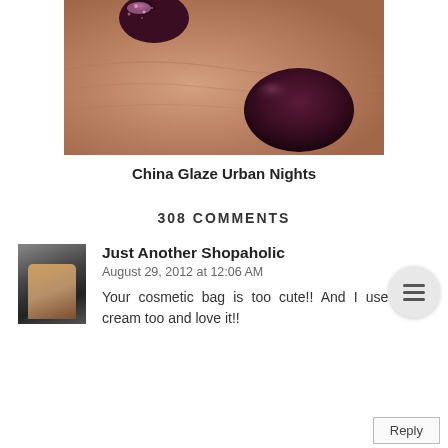[Figure (photo): Close-up photo of a hand with dark purple/burgundy nail polish, with glitter accent on one nail]
China Glaze Urban Nights
308 COMMENTS
[Figure (photo): Avatar/profile photo of commenter - appears to show a person in dark clothing]
Just Another Shopaholic
August 29, 2012 at 12:06 AM
Your cosmetic bag is too cute!! And I use that N cream too and love it!!